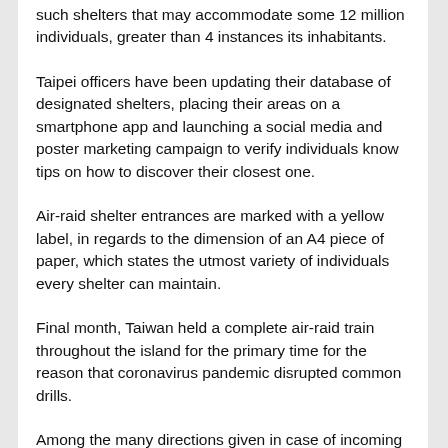such shelters that may accommodate some 12 million individuals, greater than 4 instances its inhabitants.
Taipei officers have been updating their database of designated shelters, placing their areas on a smartphone app and launching a social media and poster marketing campaign to verify individuals know tips on how to discover their closest one.
Air-raid shelter entrances are marked with a yellow label, in regards to the dimension of an A4 piece of paper, which states the utmost variety of individuals every shelter can maintain.
Final month, Taiwan held a complete air-raid train throughout the island for the primary time for the reason that coronavirus pandemic disrupted common drills.
Among the many directions given in case of incoming missiles, residents have been informed to get down of their basement parking tons and to cowl their eyes and ears with their palms whereas maintaining their mouths